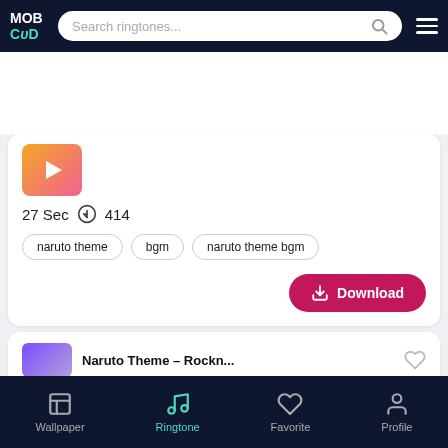MOB CUP — Search ringtones...
[Figure (screenshot): Ringtone card with gradient thumbnail, 27 Sec duration, 414 downloads, tags: naruto theme, bgm, naruto theme bgm, and a Download button]
27 Sec  414
naruto theme
bgm
naruto theme bgm
Download
Naruto Theme – Rockn...
Wallpaper  Ringtone  Favorite  Profile